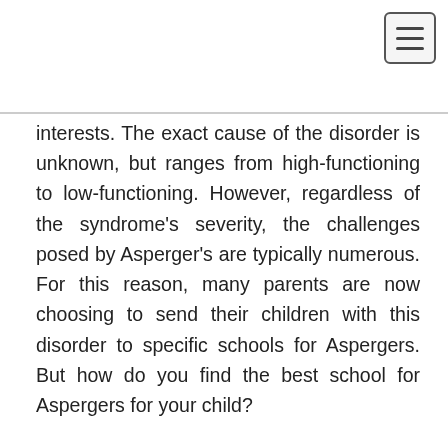[Figure (other): Hamburger menu button icon in top right corner]
interests. The exact cause of the disorder is unknown, but ranges from high-functioning to low-functioning. However, regardless of the syndrome's severity, the challenges posed by Asperger's are typically numerous. For this reason, many parents are now choosing to send their children with this disorder to specific schools for Aspergers. But how do you find the best school for Aspergers for your child?
Like many neurological conditions, children with Asperger's Syndrome often attend regular attention classes. However, some children may require special education services due to their social and behavioral difficulties. As a result, many schools for ADHD and schools for dyslexia have emerged to help people